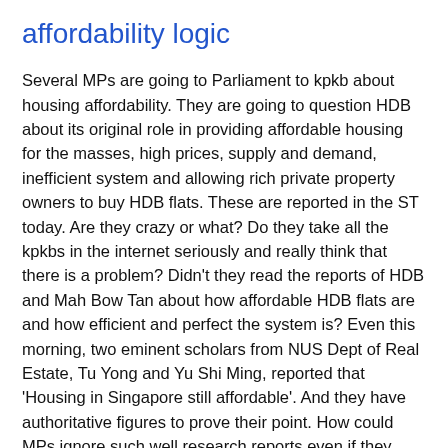affordability logic
Several MPs are going to Parliament to kpkb about housing affordability. They are going to question HDB about its original role in providing affordable housing for the masses, high prices, supply and demand, inefficient system and allowing rich private property owners to buy HDB flats. These are reported in the ST today. Are they crazy or what? Do they take all the kpkbs in the internet seriously and really think that there is a problem? Didn't they read the reports of HDB and Mah Bow Tan about how affordable HDB flats are and how efficient and perfect the system is? Even this morning, two eminent scholars from NUS Dept of Real Estate, Tu Yong and Yu Shi Ming, reported that 'Housing in Singapore still affordable'. And they have authoritative figures to prove their point. How could MPs ignore such well research reports even if they don't believe in the comments of politicians? Unbelieveable! Why did these two academics say that housing is affordable here? They compared housing data of London and Hongkong and found our data much better than theirs. 'In terms of affordability, Singapore has